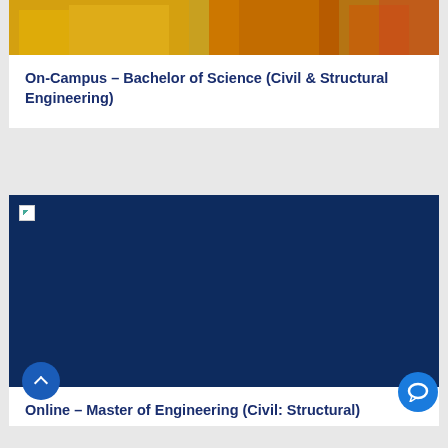[Figure (photo): Partial view of workers in yellow and orange high-visibility vests at top of page]
On-Campus – Bachelor of Science (Civil & Structural Engineering)
[Figure (photo): Dark navy blue rectangle representing a failed/loading image placeholder for an online course]
Online – Master of Engineering (Civil: Structural)